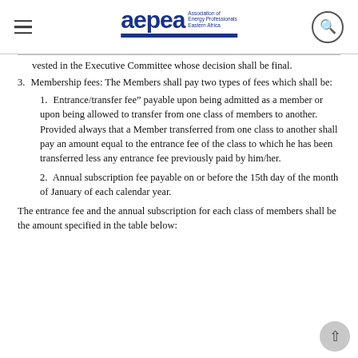AEPEA – Association of Energy Professionals Eastern Africa
vested in the Executive Committee whose decision shall be final.
Membership fees: The Members shall pay two types of fees which shall be:
Entrance/transfer fee" payable upon being admitted as a member or upon being allowed to transfer from one class of members to another. Provided always that a Member transferred from one class to another shall pay an amount equal to the entrance fee of the class to which he has been transferred less any entrance fee previously paid by him/her.
Annual subscription fee payable on or before the 15th day of the month of January of each calendar year.
The entrance fee and the annual subscription for each class of members shall be the amount specified in the table below: